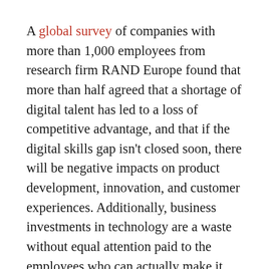A global survey of companies with more than 1,000 employees from research firm RAND Europe found that more than half agreed that a shortage of digital talent has led to a loss of competitive advantage, and that if the digital skills gap isn't closed soon, there will be negative impacts on product development, innovation, and customer experiences. Additionally, business investments in technology are a waste without equal attention paid to the employees who can actually make it useful and drive business value.
Currently, employers are focusing on looking for tech talent and up-skilling their employees' digital skills.
“It all comes down to this whole idea that organizations need a fundamentally new set of practices to accommodate the needs of the digital